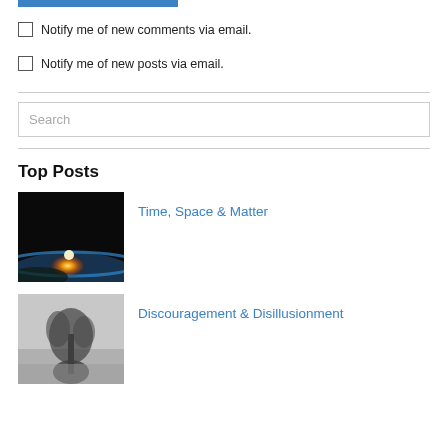Notify me of new comments via email.
Notify me of new posts via email.
Search
Top Posts
[Figure (photo): Space/earth horizon with bright sunlight glowing over dark earth surface]
Time, Space & Matter
[Figure (photo): Black and white image of a tree or smoke-like form against grey sky]
Discouragement & Disillusionment